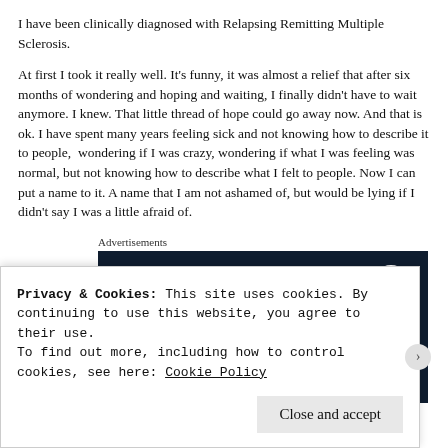I have been clinically diagnosed with Relapsing Remitting Multiple Sclerosis.
At first I took it really well. It's funny, it was almost a relief that after six months of wondering and hoping and waiting, I finally didn't have to wait anymore. I knew. That little thread of hope could go away now. And that is ok. I have spent many years feeling sick and not knowing how to describe it to people,  wondering if I was crazy, wondering if what I was feeling was normal, but not knowing how to describe what I felt to people. Now I can put a name to it. A name that I am not ashamed of, but would be lying if I didn't say I was a little afraid of.
Advertisements
[Figure (screenshot): WordPress advertisement banner with dark navy background showing a WordPress logo icon in top right, large text 'Opinions.' and partial subtitle text below.]
Privacy & Cookies: This site uses cookies. By continuing to use this website, you agree to their use.
To find out more, including how to control cookies, see here: Cookie Policy
Close and accept